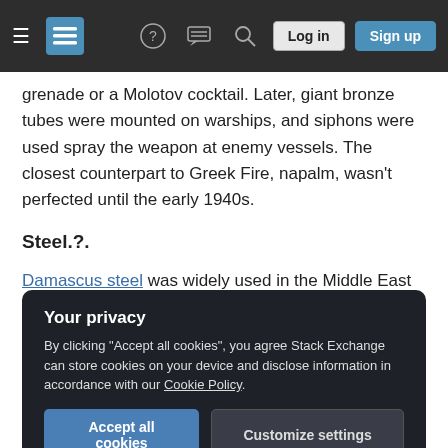Stack Exchange navigation bar with hamburger menu, logo, help, search, log in, sign up buttons
grenade or a Molotov cocktail. Later, giant bronze tubes were mounted on warships, and siphons were used spray the weapon at enemy vessels. The closest counterpart to Greek Fire, napalm, wasn't perfected until the early 1940s.
Steel.?.
Damascus steel was widely used in the Middle East from 1100-1700 AD. The blades are believed to have been created using wootz steel. The special quality may have been derived from a process
Your privacy
By clicking "Accept all cookies", you agree Stack Exchange can store cookies on your device and disclose information in accordance with our Cookie Policy.
Accept all cookies | Customize settings
The Key Role of Innovation in Ancient...